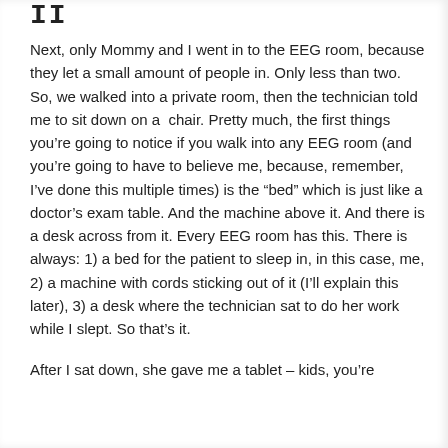II
Next, only Mommy and I went in to the EEG room, because they let a small amount of people in. Only less than two. So, we walked into a private room, then the technician told me to sit down on a  chair. Pretty much, the first things you’re going to notice if you walk into any EEG room (and you’re going to have to believe me, because, remember, I’ve done this multiple times) is the “bed” which is just like a doctor’s exam table. And the machine above it. And there is a desk across from it. Every EEG room has this. There is always: 1) a bed for the patient to sleep in, in this case, me, 2) a machine with cords sticking out of it (I’ll explain this later), 3) a desk where the technician sat to do her work while I slept. So that’s it.
After I sat down, she gave me a tablet – kids, you’re